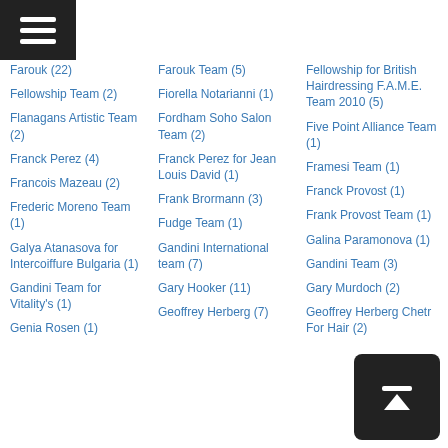Farouk (22)
Fellowship Team (2)
Flanagans Artistic Team (2)
Franck Perez (4)
Francois Mazeau (2)
Frederic Moreno Team (1)
Galya Atanasova for Intercoiffure Bulgaria (1)
Gandini Team for Vitality's (1)
Genia Rosen (1)
Farouk Team (5)
Fiorella Notarianni (1)
Fordham Soho Salon Team (2)
Franck Perez for Jean Louis David (1)
Frank Brormann (3)
Fudge Team (1)
Gandini International team (7)
Gary Hooker (11)
Geoffrey Herberg (7)
Fellowship for British Hairdressing F.A.M.E. Team 2010 (5)
Five Point Alliance Team (1)
Framesi Team (1)
Franck Provost (1)
Frank Provost Team (1)
Galina Paramonova (1)
Gandini Team (3)
Gary Murdoch (2)
Geoffrey Herberg Chetr For Hair (2)